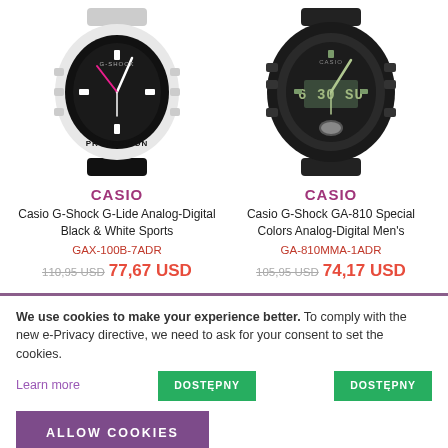[Figure (photo): Casio G-Shock G-Lide white and black analog-digital watch]
[Figure (photo): Casio G-Shock GA-810 black analog-digital watch]
CASIO
Casio G-Shock G-Lide Analog-Digital Black & White Sports
GAX-100B-7ADR
110,95 USD 77,67 USD
CASIO
Casio G-Shock GA-810 Special Colors Analog-Digital Men's
GA-810MMA-1ADR
105,95 USD 74,17 USD
We use cookies to make your experience better. To comply with the new e-Privacy directive, we need to ask for your consent to set the cookies.
Learn more
DOSTĘPNY
DOSTĘPNY
ALLOW COOKIES